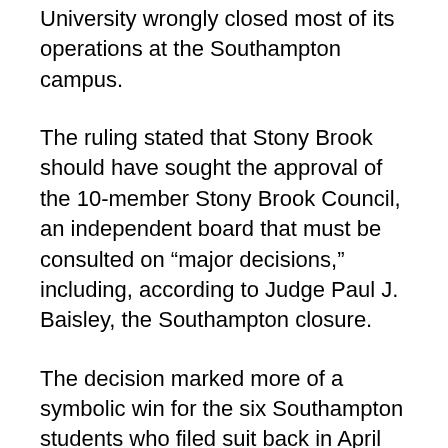University wrongly closed most of its operations at the Southampton campus.
The ruling stated that Stony Brook should have sought the approval of the 10-member Stony Brook Council, an independent board that must be consulted on “major decisions,” including, according to Judge Paul J. Baisley, the Southampton closure.
The decision marked more of a symbolic win for the six Southampton students who filed suit back in April when the decision was announced. The campus officially ended most operations at the start of this month, and most Southampton students are already taking classes at the main campus. It’s unclear what practical impact Judge Baisley’s decision will have, since resuming classes there would be all but